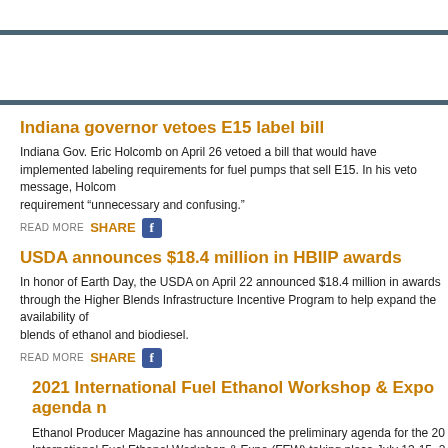Indiana governor vetoes E15 label bill
Indiana Gov. Eric Holcomb on April 26 vetoed a bill that would have implemented labeling requirements for fuel pumps that sell E15. In his veto message, Holcomb called the requirement “unnecessary and confusing.”
READ MORE   SHARE
USDA announces $18.4 million in HBIIP awards
In honor of Earth Day, the USDA on April 22 announced $18.4 million in awards through the Higher Blends Infrastructure Incentive Program to help expand the availability of higher blends of ethanol and biodiesel.
READ MORE   SHARE
2021 International Fuel Ethanol Workshop & Expo agenda r
Ethanol Producer Magazine has announced the preliminary agenda for the 2021 International Fuel Ethanol Workshop & Expo (FEW) taking place July 13-15, 2021 at the Iowa Events Center in Des Moines, Iowa.